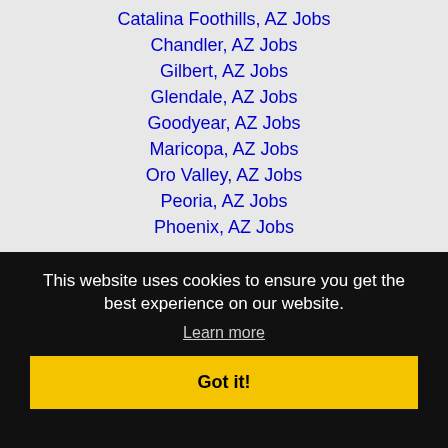Catalina Foothills, AZ Jobs
Chandler, AZ Jobs
Gilbert, AZ Jobs
Glendale, AZ Jobs
Goodyear, AZ Jobs
Maricopa, AZ Jobs
Oro Valley, AZ Jobs
Peoria, AZ Jobs
Phoenix, AZ Jobs
This website uses cookies to ensure you get the best experience on our website.
Learn more
Got it!